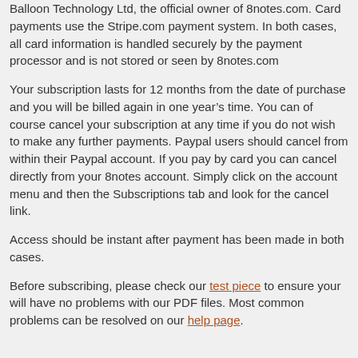Balloon Technology Ltd, the official owner of 8notes.com. Card payments use the Stripe.com payment system. In both cases, all card information is handled securely by the payment processor and is not stored or seen by 8notes.com
Your subscription lasts for 12 months from the date of purchase and you will be billed again in one year’s time. You can of course cancel your subscription at any time if you do not wish to make any further payments. Paypal users should cancel from within their Paypal account. If you pay by card you can cancel directly from your 8notes account. Simply click on the account menu and then the Subscriptions tab and look for the cancel link.
Access should be instant after payment has been made in both cases.
Before subscribing, please check our test piece to ensure your will have no problems with our PDF files. Most common problems can be resolved on our help page.